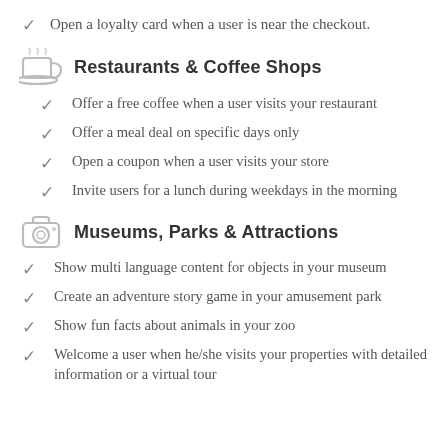Open a loyalty card when a user is near the checkout.
Restaurants & Coffee Shops
Offer a free coffee when a user visits your restaurant
Offer a meal deal on specific days only
Open a coupon when a user visits your store
Invite users for a lunch during weekdays in the morning
Museums, Parks & Attractions
Show multi language content for objects in your museum
Create an adventure story game in your amusement park
Show fun facts about animals in your zoo
Welcome a user when he/she visits your properties with detailed information or a virtual tour